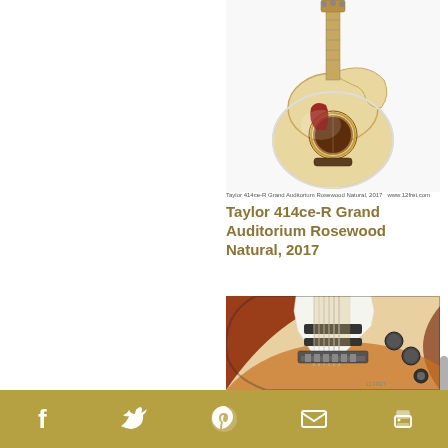[Figure (photo): Taylor 414ce-R Grand Auditorium Rosewood Natural guitar, acoustic cutaway, natural finish, shown at an angle on white background]
Taylor 414ce-R Grand Auditorium Rosewood Natural, 2017   www.12fret.com
Taylor 414ce-R Grand Auditorium Rosewood Natural, 2017
[Figure (photo): Fender American Series Telecaster Maple Neck Sunburst 2000, electric guitar, sunburst finish, white pickguard, maple neck, shown close-up]
=Reduced!! Fender American Series Telecaster Maple Neck Sunburst, 2000
f  Twitter  Pinterest  Email  Print